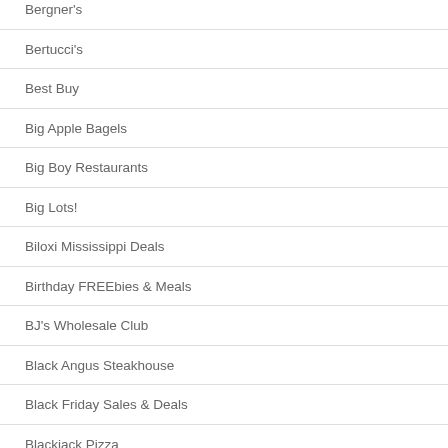Bergner's
Bertucci's
Best Buy
Big Apple Bagels
Big Boy Restaurants
Big Lots!
Biloxi Mississippi Deals
Birthday FREEbies & Meals
BJ's Wholesale Club
Black Angus Steakhouse
Black Friday Sales & Deals
Blackjack Pizza
Blain's Farm & Fleet
Blaze Pizza